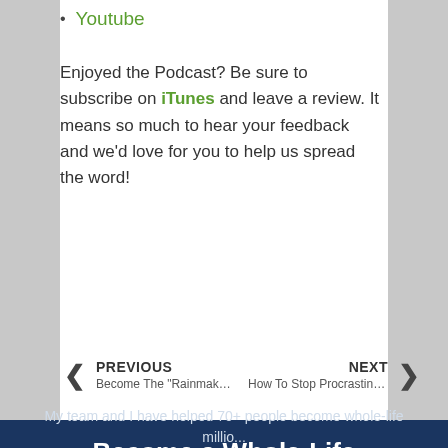Youtube
Enjoyed the Podcast? Be sure to subscribe on iTunes and leave a review. It means so much to hear your feedback and we'd love for you to help us spread the word!
PREVIOUS Become The "Rainmaker"... | NEXT How To Stop Procrastinat...
Become a Whole-Life Millionaire
My team and I have helped 70+ people become whole-life millionaires and we'd love to help you too.